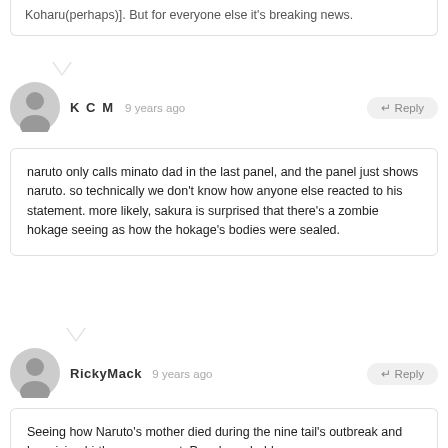Koharu(perhaps)]. But for everyone else it's breaking news.
KCM  9 years ago
naruto only calls minato dad in the last panel, and the panel just shows naruto. so technically we don't know how anyone else reacted to his statement. more likely, sakura is surprised that there's a zombie hokage seeing as how the hokage's bodies were sealed.
RickyMack  9 years ago
Seeing how Naruto's mother died during the nine tail's outbreak and her giving birth was a secret. People probable